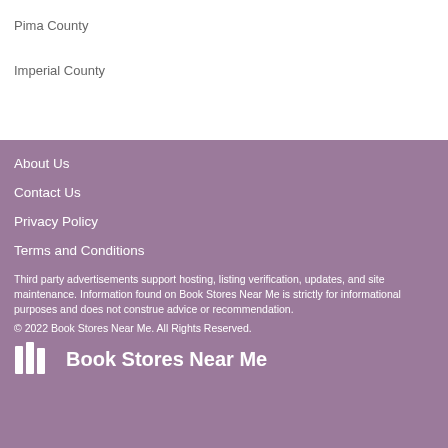Pima County
Imperial County
About Us
Contact Us
Privacy Policy
Terms and Conditions
Third party advertisements support hosting, listing verification, updates, and site maintenance. Information found on Book Stores Near Me is strictly for informational purposes and does not construe advice or recommendation.
© 2022 Book Stores Near Me. All Rights Reserved.
Book Stores Near Me